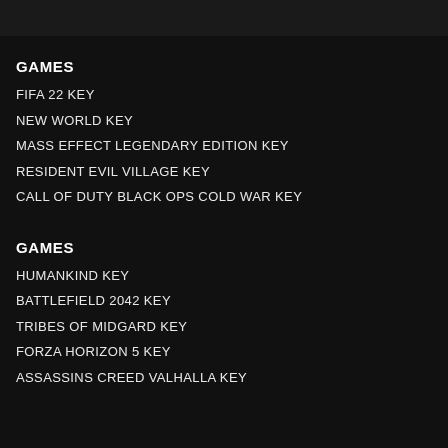GAMES
FIFA 22 KEY
NEW WORLD KEY
MASS EFFECT LEGENDARY EDITION KEY
RESIDENT EVIL VILLAGE KEY
CALL OF DUTY BLACK OPS COLD WAR KEY
GAMES
HUMANKIND KEY
BATTLEFIELD 2042 KEY
TRIBES OF MIDGARD KEY
FORZA HORIZON 5 KEY
ASSASSINS CREED VALHALLA KEY